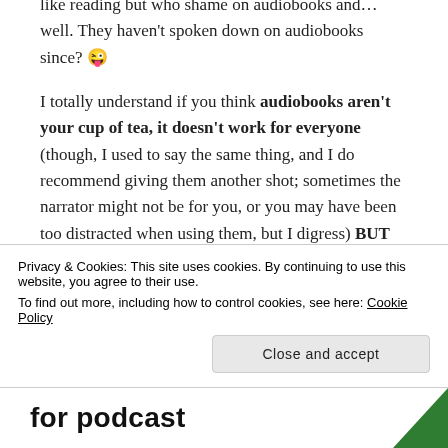like reading but who shame on audiobooks and... well. They haven't spoken down on audiobooks since? 😜 I totally understand if you think audiobooks aren't your cup of tea, it doesn't work for everyone (though, I used to say the same thing, and I do recommend giving them another shot; sometimes the narrator might not be for you, or you may have been too distracted when using them, but I digress) BUT that doesn't give anyone the right to claim it's "not reading" or
Privacy & Cookies: This site uses cookies. By continuing to use this website, you agree to their use. To find out more, including how to control cookies, see here: Cookie Policy
Close and accept
for podcast